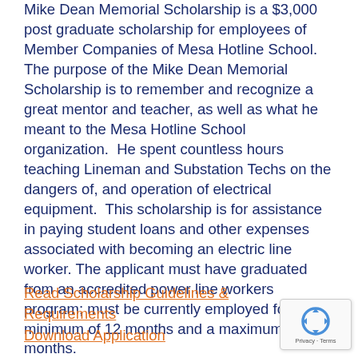Mike Dean Memorial Scholarship is a $3,000 post graduate scholarship for employees of Member Companies of Mesa Hotline School. The purpose of the Mike Dean Memorial Scholarship is to remember and recognize a great mentor and teacher, as well as what he meant to the Mesa Hotline School organization.  He spent countless hours teaching Lineman and Substation Techs on the dangers of, and operation of electrical equipment.  This scholarship is for assistance in paying student loans and other expenses associated with becoming an electric line worker. The applicant must have graduated from an accredited power line workers program; must be currently employed for a minimum of 12 months and a maximum of 24 months.
Read Scholarship Guidelines & Requirements
Download Application